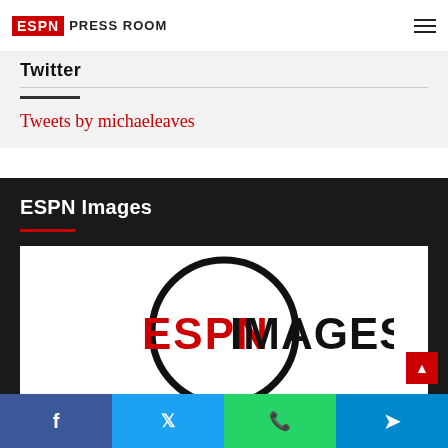ESPN Press Room
Twitter
Tweets by michaeleaves
ESPN Images
[Figure (logo): ESPN Images logo: circle outline with ESPN in red block letters and IMAGES in black bold text]
Facebook | Twitter | WhatsApp | Telegram share buttons